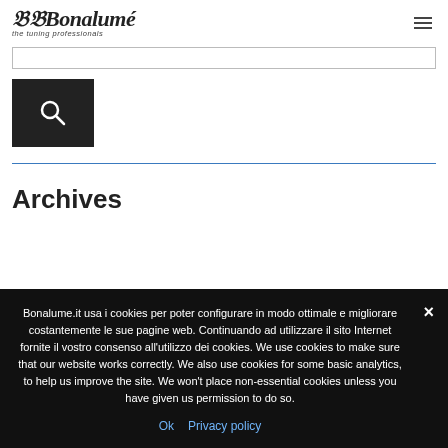AB Bonalumé the tuning professionals
[Figure (screenshot): Search input field (text box), empty]
[Figure (other): Dark search button with magnifying glass icon]
Archives
Bonalume.it usa i cookies per poter configurare in modo ottimale e migliorare costantemente le sue pagine web. Continuando ad utilizzare il sito Internet fornite il vostro consenso all'utilizzo dei cookies. We use cookies to make sure that our website works correctly. We also use cookies for some basic analytics, to help us improve the site. We won't place non-essential cookies unless you have given us permission to do so.
Ok   Privacy policy